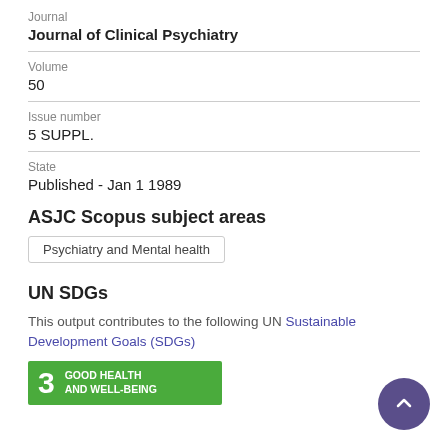Journal
Journal of Clinical Psychiatry
Volume
50
Issue number
5 SUPPL.
State
Published - Jan 1 1989
ASJC Scopus subject areas
Psychiatry and Mental health
UN SDGs
This output contributes to the following UN Sustainable Development Goals (SDGs)
[Figure (infographic): SDG 3 badge: green rectangle with number 3 and text GOOD HEALTH AND WELL-BEING]